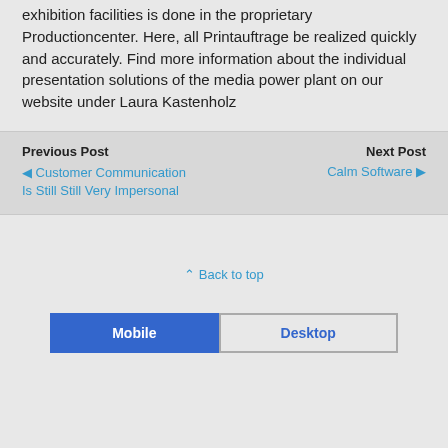exhibition facilities is done in the proprietary Productioncenter. Here, all Printauftrage be realized quickly and accurately. Find more information about the individual presentation solutions of the media power plant on our website under Laura Kastenholz
Previous Post
◀ Customer Communication Is Still Still Very Impersonal

Next Post
Calm Software ▶
⇧ Back to top
Mobile | Desktop